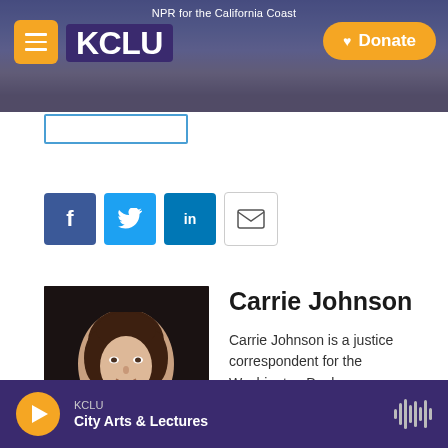NPR for the California Coast — KCLU — Donate
[Figure (screenshot): Social share buttons: Facebook, Twitter, LinkedIn, Email]
[Figure (photo): Headshot of Carrie Johnson, a woman with curly brown hair]
Carrie Johnson
Carrie Johnson is a justice correspondent for the Washington Desk.
See stories by Carrie Johnson
KCLU — City Arts & Lectures